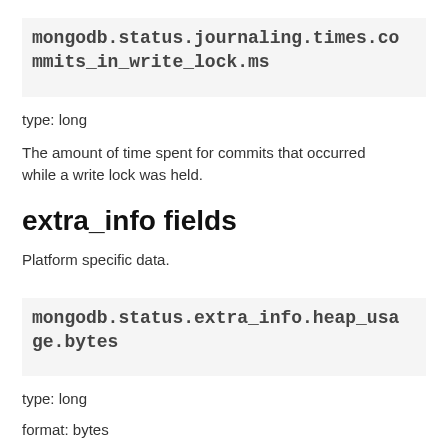mongodb.status.journaling.times.commits_in_write_lock.ms
type: long
The amount of time spent for commits that occurred while a write lock was held.
extra_info fields
Platform specific data.
mongodb.status.extra_info.heap_usage.bytes
type: long
format: bytes